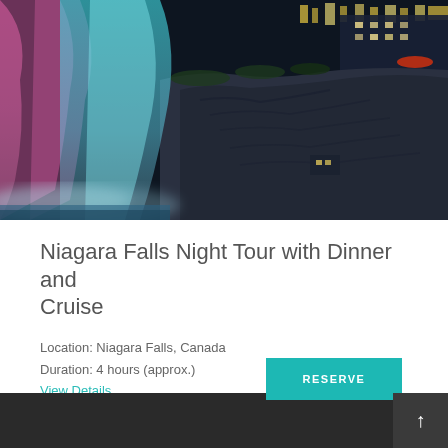[Figure (photo): Night-time photo of Niagara Falls illuminated with pink and blue/teal lights, with rocky cliffs and buildings with warm lights visible in the background]
Niagara Falls Night Tour with Dinner and Cruise
Location: Niagara Falls, Canada
Duration: 4 hours (approx.)
View Details